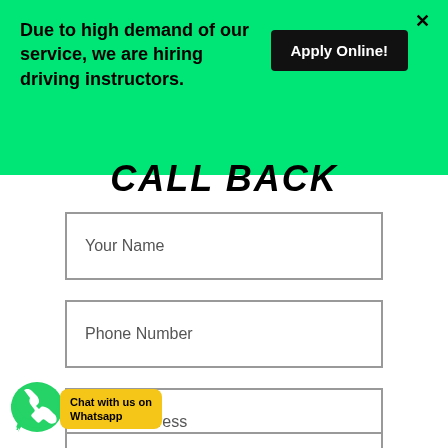Due to high demand of our service, we are hiring driving instructors.
Apply Online!
CALL BACK
Your Name
Phone Number
Email Address
Best Time To Call You
[Figure (other): WhatsApp chat widget with green phone icon and yellow label reading 'Chat with us on Whatsapp']